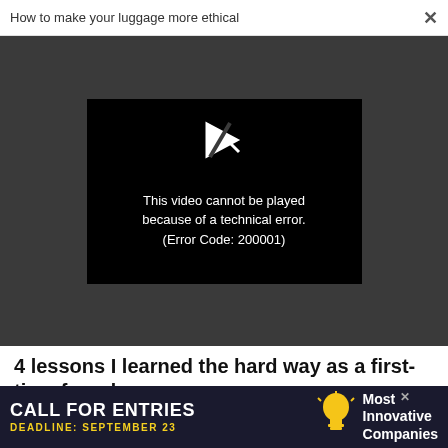How to make your luggage more ethical  ×
[Figure (screenshot): Video player showing error message: 'This video cannot be played because of a technical error. (Error Code: 200001)' on a dark background with a play icon.]
4 lessons I learned the hard way as a first-time founder
WORK LIFE
What science has to say about your birth order and your career choice
[Figure (infographic): Advertisement banner: 'CALL FOR ENTRIES DEADLINE: SEPTEMBER 23' with lightbulb icon and 'Most Innovative Companies' text on dark background.]